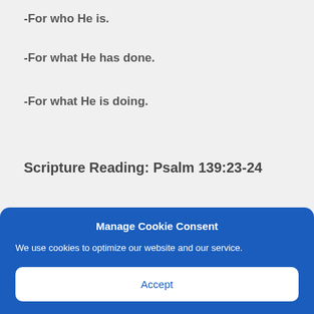-For who He is.
-For what He has done.
-For what He is doing.
Scripture Reading: Psalm 139:23-24
Manage Cookie Consent
We use cookies to optimize our website and our service.
Accept